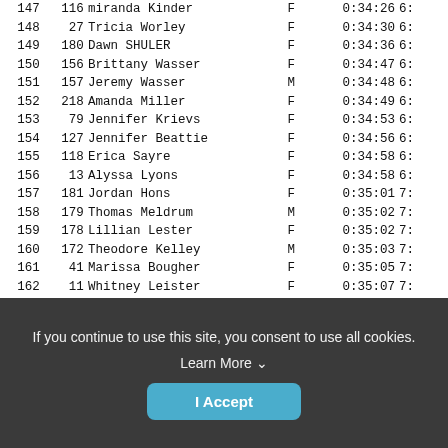| Rank | Bib | Name | Sex | Time |  |
| --- | --- | --- | --- | --- | --- |
| 147 | 116 | miranda Kinder | F | 0:34:26 | 6: |
| 148 | 27 | Tricia Worley | F | 0:34:30 | 6: |
| 149 | 180 | Dawn SHULER | F | 0:34:36 | 6: |
| 150 | 156 | Brittany Wasser | F | 0:34:47 | 6: |
| 151 | 157 | Jeremy Wasser | M | 0:34:48 | 6: |
| 152 | 218 | Amanda Miller | F | 0:34:49 | 6: |
| 153 | 79 | Jennifer Krievs | F | 0:34:53 | 6: |
| 154 | 127 | Jennifer Beattie | F | 0:34:56 | 6: |
| 155 | 118 | Erica Sayre | F | 0:34:58 | 6: |
| 156 | 13 | Alyssa Lyons | F | 0:34:58 | 6: |
| 157 | 181 | Jordan Hons | F | 0:35:01 | 7: |
| 158 | 179 | Thomas Meldrum | M | 0:35:02 | 7: |
| 159 | 178 | Lillian Lester | F | 0:35:02 | 7: |
| 160 | 172 | Theodore Kelley | M | 0:35:03 | 7: |
| 161 | 41 | Marissa Bougher | F | 0:35:05 | 7: |
| 162 | 11 | Whitney Leister | F | 0:35:07 | 7: |
| 163 | 130 | Sarah Stafford | F | 0:35:07 | 7: |
| 164 | 83 | Ahmed Braimah | M | 0:35:11 | 7: |
| 165 | 144 | C. Rein | F | 0:35:24 | 7: |
| 166 | 141 | Joe Rein | M | 0:35:25 | 7: |
| 167 | 143 | Amy Rein | F | 0:35:26 | 7: |
If you continue to use this site, you consent to use all cookies. Learn More ∨
I Accept